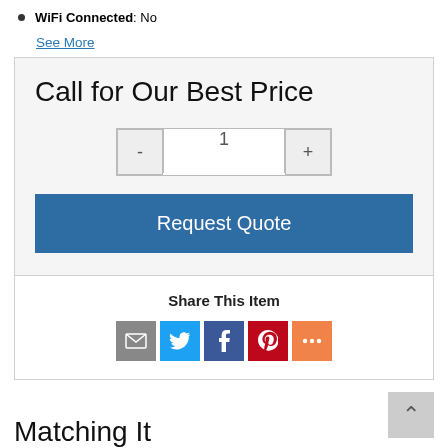WiFi Connected: No
See More
Call for Our Best Price
1
Request Quote
Share This Item
[Figure (infographic): Social share icons: email (grey), Twitter (blue), Facebook (dark blue), Pinterest (red), More (orange)]
Matching It